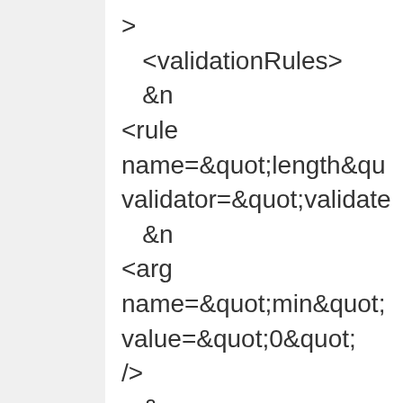>
   &lt;validationRules&gt;
      
&lt;rule name=&quot;length&quot; validator=&quot;validate      
&lt;arg name=&quot;min&quot; value=&quot;0&quot; /&gt;
      
&lt;arg name=&quot;max&quot; value=&quot;100&quot; /&gt;